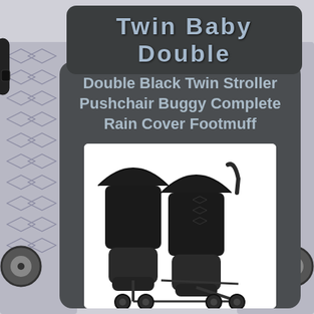[Figure (photo): Background image of a double/twin stroller pushchair with grey and white geometric patterned fabric, partially visible on the left and right sides of the page behind the main content card.]
Twin Baby Double
Double Black Twin Stroller Pushchair Buggy Complete Rain Cover Footmuff
[Figure (photo): Product photo of a black double twin stroller/pushchair buggy with two seats side by side, footmuffs attached to each seat, canopies over each seat, and a chassis with wheels visible. The stroller is shown against a white background.]